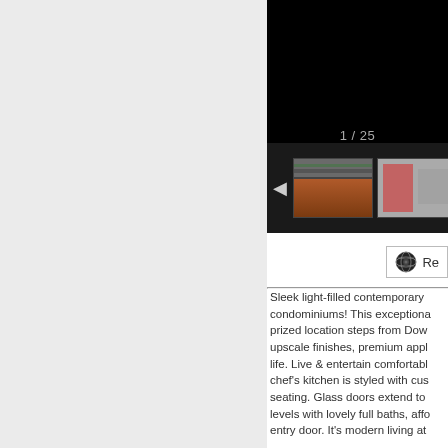[Figure (photo): Real estate photo gallery showing a brick condominium building exterior (aerial/angled view) and interior thumbnail, with navigation controls and 1/25 counter]
[Figure (screenshot): A button with globe icon and text starting with 'Re' (partially visible)]
Sleek light-filled contemporary condominiums! This exceptional prized location steps from Dow upscale finishes, premium appl life. Live & entertain comfortabl chef's kitchen is styled with cus seating. Glass doors extend to levels with lovely full baths, affo entry door. It's modern living at
Additional Details